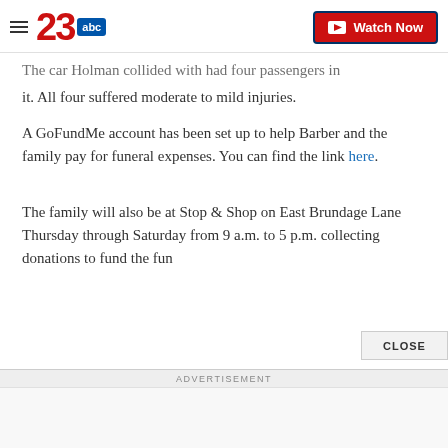23abc — Watch Now
The car Holman collided with had four passengers in it. All four suffered moderate to mild injuries.
A GoFundMe account has been set up to help Barber and the family pay for funeral expenses. You can find the link here.
The family will also be at Stop & Shop on East Brundage Lane Thursday through Saturday from 9 a.m. to 5 p.m. collecting donations to fund the fun
CLOSE
ADVERTISEMENT